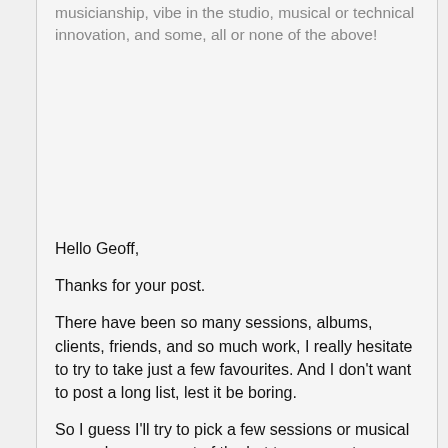musicianship, vibe in the studio, musical or technical innovation, and some, all or none of the above!
Hello Geoff,
Thanks for your post.
There have been so many sessions, albums, clients, friends, and so much work, I really hesitate to try to take just a few favourites.  And I don't want to post a long list, lest it be boring.
So I guess I'll try to pick a few sessions or musical rememberances out of the hat to comment upon; some of these were perhaps amongst the most